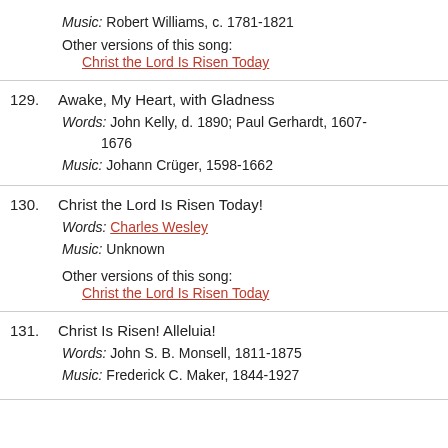Music: Robert Williams, c. 1781-1821
Other versions of this song:
Christ the Lord Is Risen Today
129. Awake, My Heart, with Gladness
Words: John Kelly, d. 1890; Paul Gerhardt, 1607-1676
Music: Johann Crüger, 1598-1662
130. Christ the Lord Is Risen Today!
Words: Charles Wesley
Music: Unknown
Other versions of this song:
Christ the Lord Is Risen Today
131. Christ Is Risen! Alleluia!
Words: John S. B. Monsell, 1811-1875
Music: Frederick C. Maker, 1844-1927